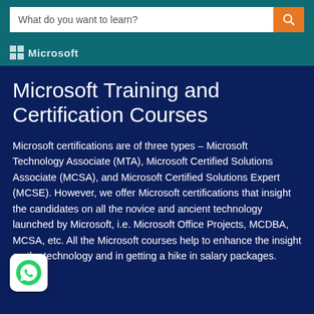What do you want to learn?
[Figure (logo): Microsoft logo with four squares and Microsoft text]
Microsoft Training and Certification Courses
Microsoft certifications are of three types – Microsoft Technology Associate (MTA), Microsoft Certified Solutions Associate (MCSA), and Microsoft Certified Solutions Expert (MCSE). However, we offer Microsoft certifications that insight the candidates on all the novice and ancient technology launched by Microsoft, i.e. Microsoft Office Projects, MCDBA, MCSA, etc. All the Microsoft courses help to enhance the insight on the technology and in getting a hike in salary packages.